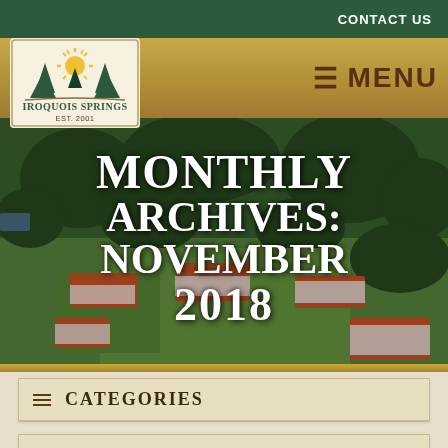CONTACT US
[Figure (logo): Iroquois Springs logo with trees, sun rays, and text 'IROQUOIS SPRINGS EST. 2001']
≡ MENU
[Figure (photo): Aerial photograph of Iroquois Springs camp showing buildings with red/orange roofs surrounded by green trees and grass]
MONTHLY ARCHIVES: NOVEMBER 2018
≡ CATEGORIES
≡ POST BY DATE